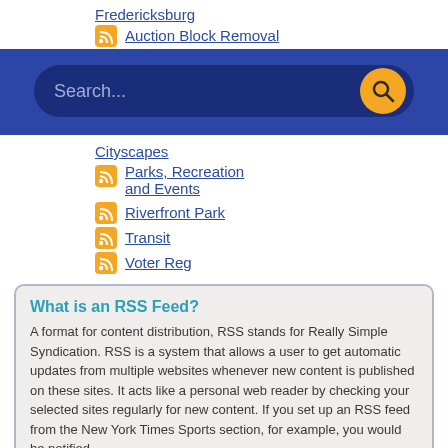Fredericksburg
Auction Block Removal
[Figure (screenshot): Blue search bar with orange search button]
Cityscapes
Parks, Recreation and Events
Riverfront Park
Transit
Voter Reg
What is an RSS Feed?
A format for content distribution, RSS stands for Really Simple Syndication. RSS is a system that allows a user to get automatic updates from multiple websites whenever new content is published on these sites. It acts like a personal web reader by checking your selected sites regularly for new content. If you set up an RSS feed from the New York Times Sports section, for example, you would be notified